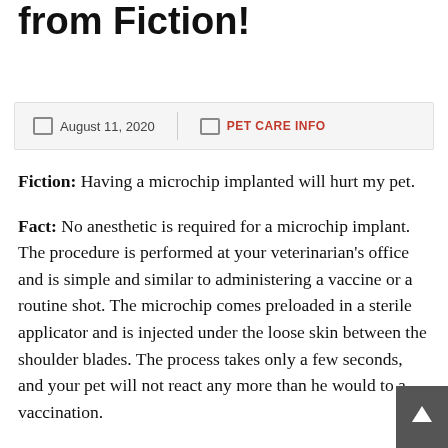Microchipping Facts from Fiction!
August 11, 2020 | PET CARE INFO
Fiction: Having a microchip implanted will hurt my pet.
Fact: No anesthetic is required for a microchip implant. The procedure is performed at your veterinarian's office and is simple and similar to administering a vaccine or a routine shot. The microchip comes preloaded in a sterile applicator and is injected under the loose skin between the shoulder blades. The process takes only a few seconds, and your pet will not react any more than he would to a vaccination.